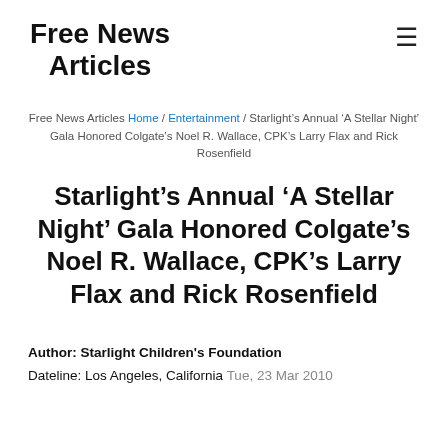Free News Articles
Free News Articles Home / Entertainment / Starlight's Annual ‘A Stellar Night’ Gala Honored Colgate’s Noel R. Wallace, CPK’s Larry Flax and Rick Rosenfield
Starlight’s Annual ‘A Stellar Night’ Gala Honored Colgate’s Noel R. Wallace, CPK’s Larry Flax and Rick Rosenfield
Author: Starlight Children's Foundation
Dateline: Los Angeles, California Tue, 23 Mar 2010